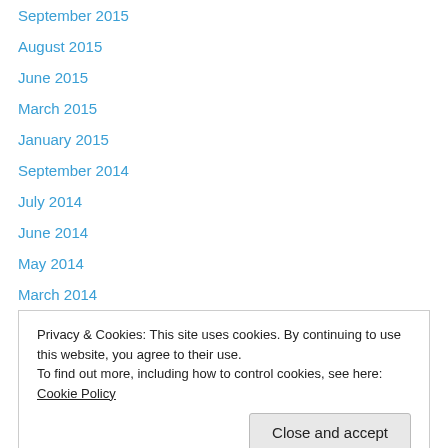September 2015
August 2015
June 2015
March 2015
January 2015
September 2014
July 2014
June 2014
May 2014
March 2014
January 2014
December 2013
November 2013
Privacy & Cookies: This site uses cookies. By continuing to use this website, you agree to their use.
To find out more, including how to control cookies, see here: Cookie Policy
April 2013